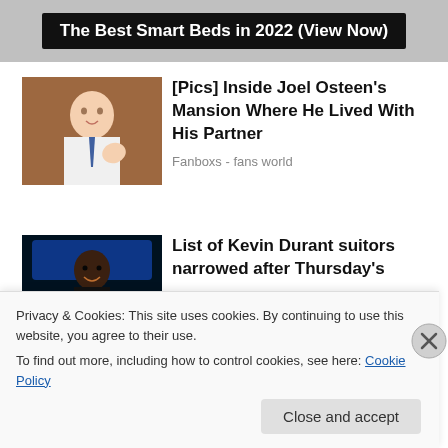[Figure (other): Advertisement banner: 'The Best Smart Beds in 2022 (View Now)' on dark background]
[Figure (photo): Photo of Joel Osteen smiling, wearing white shirt and tie]
[Pics] Inside Joel Osteen's Mansion Where He Lived With His Partner
Fanboxs - fans world
[Figure (photo): Photo of Kevin Durant on basketball court]
List of Kevin Durant suitors narrowed after Thursday's
Privacy & Cookies: This site uses cookies. By continuing to use this website, you agree to their use.
To find out more, including how to control cookies, see here: Cookie Policy